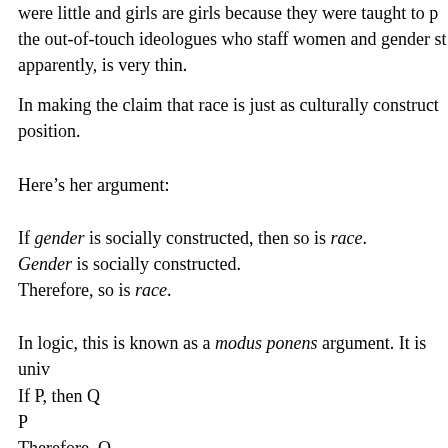were little and girls are girls because they were taught to p the out-of-touch ideologues who staff women and gender st apparently, is very thin.
In making the claim that race is just as culturally construct position.
Here’s her argument:
If gender is socially constructed, then so is race.
Gender is socially constructed.
Therefore, so is race.
In logic, this is known as a modus ponens argument. It is univ
If P, then Q
P
Therefore, Q